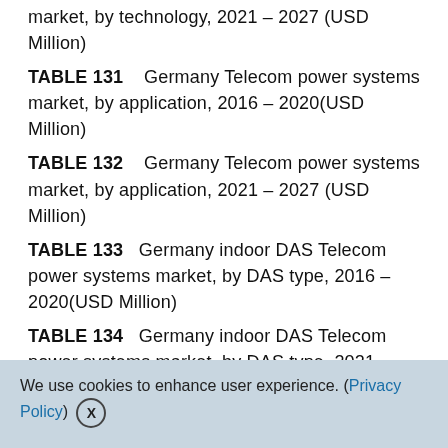market, by technology, 2021 – 2027 (USD Million)
TABLE 131    Germany Telecom power systems market, by application, 2016 – 2020(USD Million)
TABLE 132    Germany Telecom power systems market, by application, 2021 – 2027 (USD Million)
TABLE 133   Germany indoor DAS Telecom power systems market, by DAS type, 2016 – 2020(USD Million)
TABLE 134   Germany indoor DAS Telecom power systems market, by DAS type, 2021 – 2027 (USD Million)
TABLE 135   Germany indoor DAS Telecom power systems market, by technology, 2016 – 2020(USD
We use cookies to enhance user experience. (Privacy Policy) X